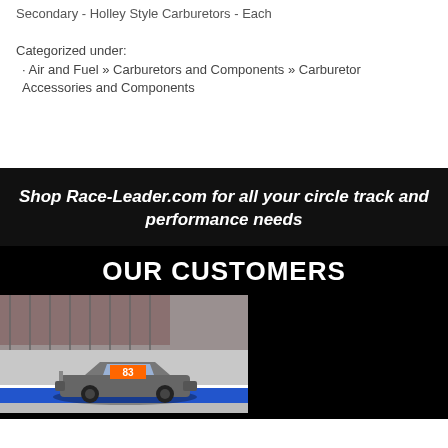Secondary - Holley Style Carburetors - Each
Categorized under:
· Air and Fuel » Carburetors and Components » Carburetor Accessories and Components
Shop Race-Leader.com for all your circle track and performance needs
OUR CUSTOMERS
[Figure (photo): Race car number 83 on a circle track racing circuit with blue wall barriers and grandstands in background]